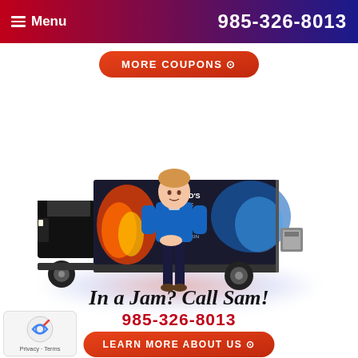Menu  985-326-8013
MORE COUPONS ⊙
[Figure (photo): Man in blue polo shirt standing in front of a branded HVAC service truck with fire and ice graphics reading LAND'S HVAC, 985-326-8013, CALL SAM!, Daikin]
In a Jam? Call Sam!
985-326-8013
LEARN MORE ABOUT US ⊙
Privacy · Terms